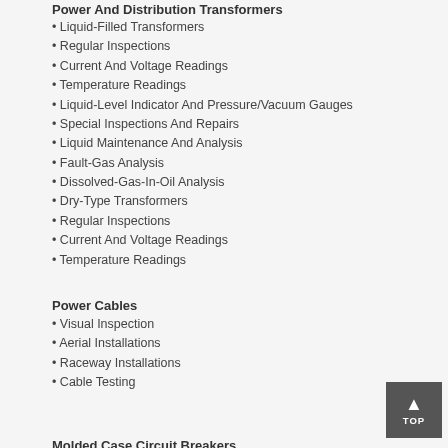Power And Distribution Transformers
• Liquid-Filled Transformers
• Regular Inspections
• Current And Voltage Readings
• Temperature Readings
• Liquid-Level Indicator And Pressure/Vacuum Gauges
• Special Inspections And Repairs
• Liquid Maintenance And Analysis
• Fault-Gas Analysis
• Dissolved-Gas-In-Oil Analysis
• Dry-Type Transformers
• Regular Inspections
• Current And Voltage Readings
• Temperature Readings
Power Cables
• Visual Inspection
• Aerial Installations
• Raceway Installations
• Cable Testing
Molded Case Circuit Breakers
• Types Of Molded-Case Circuit Breakers